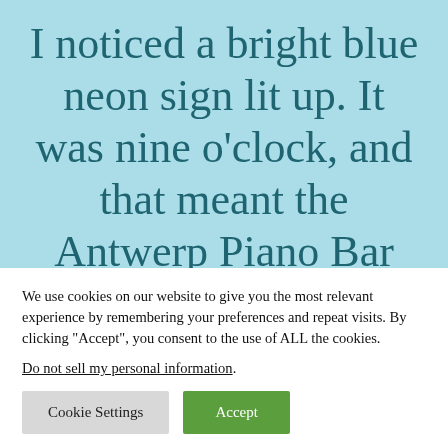I noticed a bright blue neon sign lit up. It was nine o'clock, and that meant the Antwerp Piano Bar
We use cookies on our website to give you the most relevant experience by remembering your preferences and repeat visits. By clicking “Accept”, you consent to the use of ALL the cookies.
Do not sell my personal information.
Cookie Settings
Accept